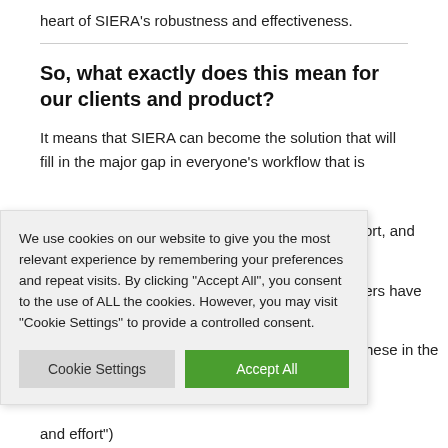heart of SIERA's robustness and effectiveness.
So, what exactly does this mean for our clients and product?
It means that SIERA can become the solution that will fill in the major gap in everyone's workflow that is
l effort, and
t users have
ng these in the
We use cookies on our website to give you the most relevant experience by remembering your preferences and repeat visits. By clicking "Accept All", you consent to the use of ALL the cookies. However, you may visit "Cookie Settings" to provide a controlled consent.
the solution
w, saving them
ne the
veryone's
ng them time
and effort")